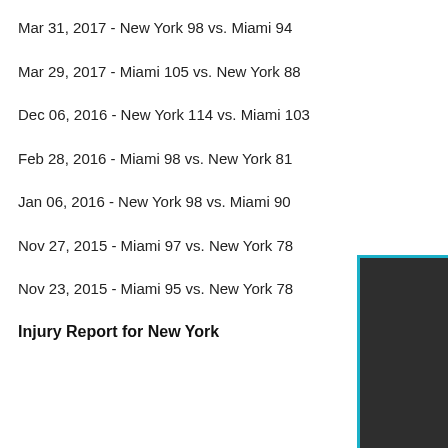Mar 31, 2017 - New York 98 vs. Miami 94
Mar 29, 2017 - Miami 105 vs. New York 88
Dec 06, 2016 - New York 114 vs. Miami 103
Feb 28, 2016 - Miami 98 vs. New York 81
Jan 06, 2016 - New York 98 vs. Miami 90
Nov 27, 2015 - Miami 97 vs. New York 78
Nov 23, 2015 - Miami 95 vs. New York 78
Injury Report for New York